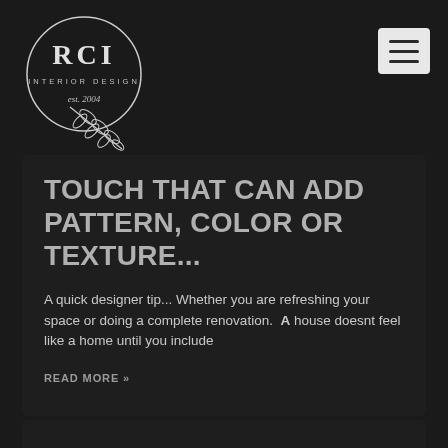[Figure (logo): RCI Interior Design circular logo with botanical leaf illustration, est. 2004]
[Figure (other): Hamburger menu icon button (three horizontal lines) on light grey rounded rectangle background]
TOUCH THAT CAN ADD PATTERN, COLOR OR TEXTURE...
A quick designer tip... Whether you are refreshing your space or doing a complete renovation.  A house doesnt feel like a home until you include
READ MORE »